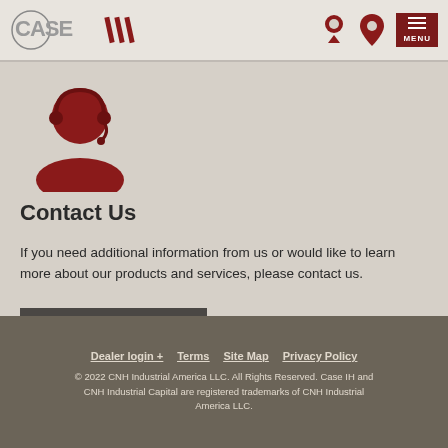CASE IH logo with navigation icons and MENU
[Figure (illustration): Red customer support / contact person icon with headset]
Contact Us
If you need additional information from us or would like to learn more about our products and services, please contact us.
CONTACT US
Dealer login +   Terms   Site Map   Privacy Policy
© 2022 CNH Industrial America LLC. All Rights Reserved. Case IH and CNH Industrial Capital are registered trademarks of CNH Industrial America LLC.